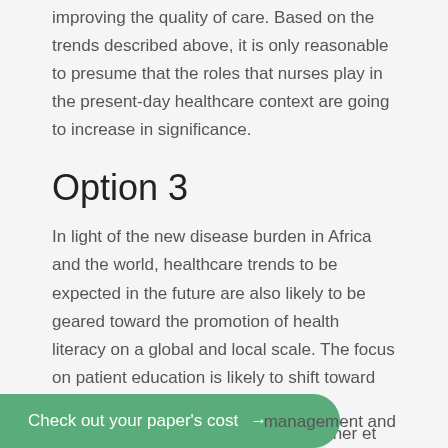improving the quality of care. Based on the trends described above, it is only reasonable to presume that the roles that nurses play in the present-day healthcare context are going to increase in significance.
Option 3
In light of the new disease burden in Africa and the world, healthcare trends to be expected in the future are also likely to be geared toward the promotion of health literacy on a global and local scale. The focus on patient education is likely to shift toward the advancement of the international understanding of health literacy (Kutcher et al., 2019). Specifically, cross-cultural strategies will have to be utilized to management and